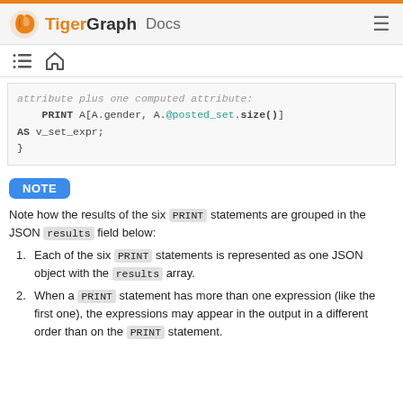TigerGraph Docs
[Figure (screenshot): Navigation icons: list/table-of-contents icon and home icon]
attribute plus one computed attribute:
    PRINT A[A.gender, A.@posted_set.size()]
AS v_set_expr;
}
NOTE
Note how the results of the six PRINT statements are grouped in the JSON results field below:
Each of the six PRINT statements is represented as one JSON object with the results array.
When a PRINT statement has more than one expression (like the first one), the expressions may appear in the output in a different order than on the PRINT statement.